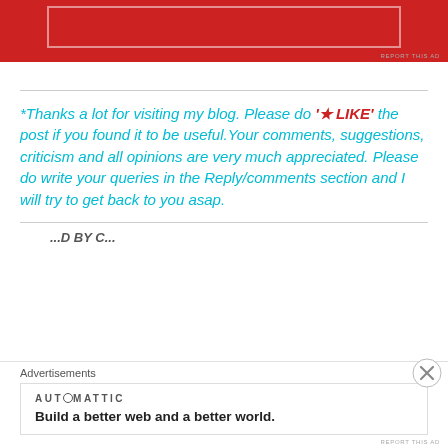[Figure (other): Red advertisement banner at the top with a white inner border rectangle]
REPORT THIS AD
*Thanks a lot for visiting my blog. Please do '★ LIKE' the post if you found it to be useful.Your comments, suggestions, criticism and all opinions are very much appreciated. Please do write your queries in the Reply/comments section and I will try to get back to you asap.
BY C...
Advertisements
AUTOMATTIC
Build a better web and a better world.
REPORT THIS AD